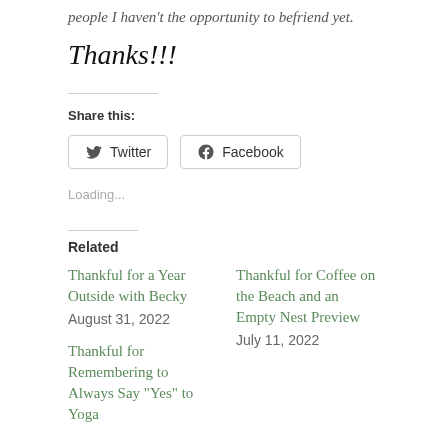people I haven't the opportunity to befriend yet.
Thanks!!!
Share this:
Twitter
Facebook
Loading...
Related
Thankful for a Year Outside with Becky
August 31, 2022
Thankful for Coffee on the Beach and an Empty Nest Preview
July 11, 2022
Thankful for Remembering to Always Say "Yes" to Yoga